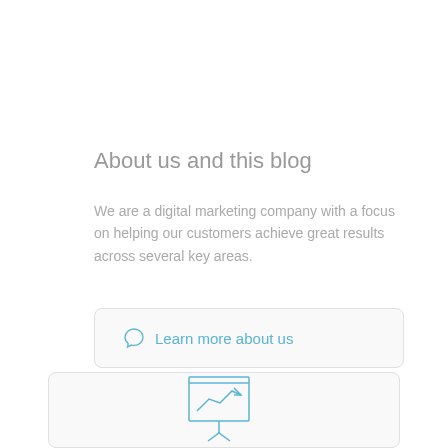About us and this blog
We are a digital marketing company with a focus on helping our customers achieve great results across several key areas.
[Figure (other): Rounded button/widget with a speech bubble icon and text 'Learn more about us' in blue]
[Figure (other): Rounded card/widget with a presentation chart icon (line chart going up on a board with stand) in blue outline style]